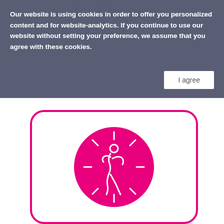Our website is using cookies in order to offer you personalized content and for website-analytics. If you continue to use our website without setting your preference, we assume that you agree with these cookies.
[Figure (illustration): Cookie consent banner with an 'I agree' button on a dark blue-grey semi-transparent overlay. Below the banner is a white background with a pink rounded-rectangle card containing a pink circle with a white line-art figure/human icon radiating lines.]